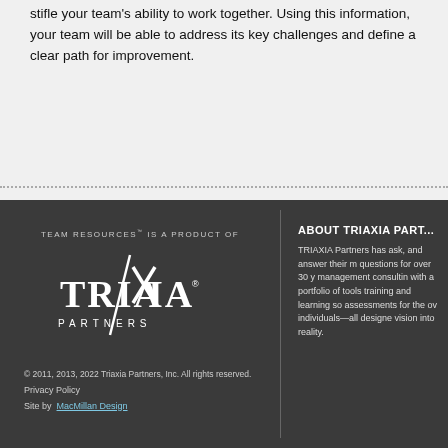stifle your team's ability to work together. Using this information, your team will be able to address its key challenges and define a clear path for improvement.
[Figure (logo): Triaxia Partners logo with text 'TEAM RESOURCES is a product of TRIAXIA PARTNERS']
© 2011, 2013, 2022 Triaxia Partners, Inc. All rights reserved.
Privacy Policy
Site by  MacMillan Design
ABOUT TRIAXIA PART...
TRIAXIA Partners has ask, and answer their m questions for over 30 y management consultin with a portfolio of tools training and learning so assessments for the ov individuals—all designe vision into reality.